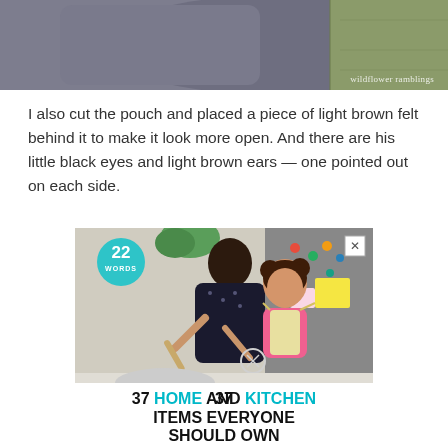[Figure (photo): Partial top image showing a grey felt object on a wooden surface, with watermark 'wildflower ramblings' in bottom right]
I also cut the pouch and placed a piece of light brown felt behind it to make it look more open. And there are his little black eyes and light brown ears — one pointed out on each side.
[Figure (photo): Advertisement banner showing a woman and young girl cooking together in a kitchen. Overlay badge showing '22 WORDS' in teal circle. Close button X in top right. Text overlay at bottom reads: 37 HOME AND KITCHEN ITEMS EVERYONE SHOULD OWN]